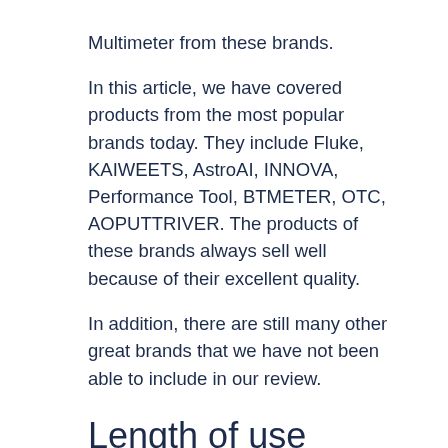Multimeter from these brands. In this article, we have covered products from the most popular brands today. They include Fluke, KAIWEETS, AstroAI, INNOVA, Performance Tool, BTMETER, OTC, AOPUTTRIVER. The products of these brands always sell well because of their excellent quality. In addition, there are still many other great brands that we have not been able to include in our review.
Length of use
Before making a final decision, you need to think about how much use you will get from Best Automotive Multimeter. Is it worth the money you have to spend? It would be best if you considered how long you plan to use Best Automotive Multimeter. If you are only going to use it for the short term, you should buy a